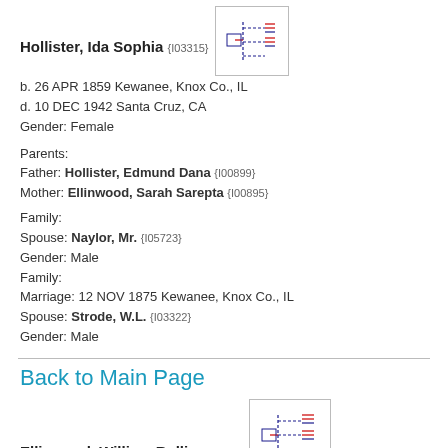[Figure (other): Pedigree/family tree diagram icon with dashed lines in blue and red on white background]
Hollister, Ida Sophia {I03315}
b. 26 APR 1859 Kewanee, Knox Co., IL
d. 10 DEC 1942 Santa Cruz, CA
Gender: Female
Parents:
Father: Hollister, Edmund Dana {I00899}
Mother: Ellinwood, Sarah Sarepta {I00895}
Family:
Spouse: Naylor, Mr. {I05723}
Gender: Male
Family:
Marriage: 12 NOV 1875 Kewanee, Knox Co., IL
Spouse: Strode, W.L. {I03322}
Gender: Male
Back to Main Page
[Figure (other): Pedigree/family tree diagram icon with dashed lines in blue and red on white background]
Ellinwood, William Rollin {I03335}
b. 1855 Washington Co., OH
Gender: Male
Parents: